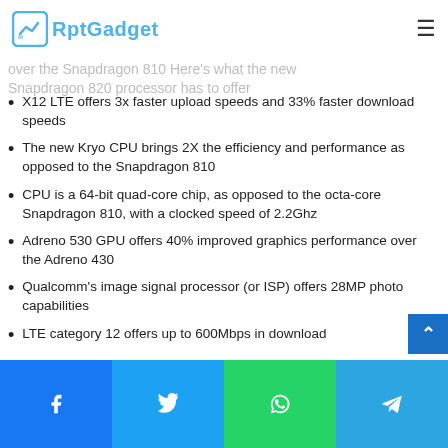AptGadget
Snapdragon 820 processor today, which will be a huge step over the Snapdragon 810 Here's what the new Snapdragon 820 processor has to offer
X12 LTE offers 3x faster upload speeds and 33% faster download speeds
The new Kryo CPU brings 2X the efficiency and performance as opposed to the Snapdragon 810
CPU is a 64-bit quad-core chip, as opposed to the octa-core Snapdragon 810, with a clocked speed of 2.2Ghz
Adreno 530 GPU offers 40% improved graphics performance over the Adreno 430
Qualcomm's image signal processor (or ISP) offers 28MP photo capabilities
LTE category 12 offers up to 600Mbps in download
Facebook | Twitter | WhatsApp | Telegram